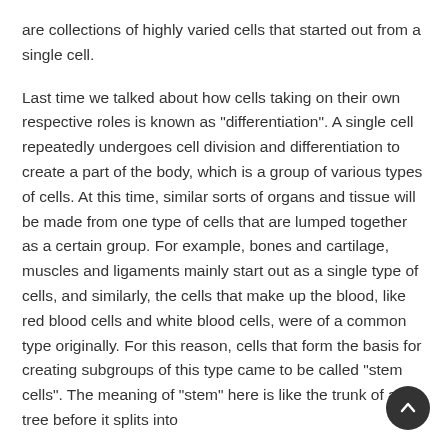are collections of highly varied cells that started out from a single cell.
Last time we talked about how cells taking on their own respective roles is known as "differentiation". A single cell repeatedly undergoes cell division and differentiation to create a part of the body, which is a group of various types of cells. At this time, similar sorts of organs and tissue will be made from one type of cells that are lumped together as a certain group. For example, bones and cartilage, muscles and ligaments mainly start out as a single type of cells, and similarly, the cells that make up the blood, like red blood cells and white blood cells, were of a common type originally. For this reason, cells that form the basis for creating subgroups of this type came to be called "stem cells". The meaning of "stem" here is like the trunk of a tree before it splits into